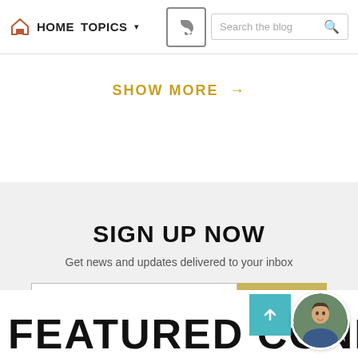HOME  TOPICS  Search the blog
SHOW MORE →
SIGN UP NOW
Get news and updates delivered to your inbox
Your email  SIGN UP
FEATURED CONDOS